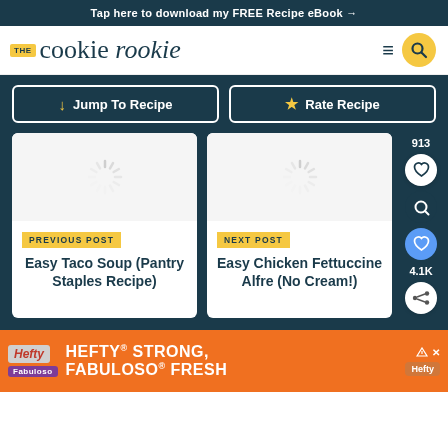Tap here to download my FREE Recipe eBook →
[Figure (logo): The Cookie Rookie logo with yellow THE badge, serif wordmark and nav icons (hamburger menu and yellow search circle)]
↓ Jump To Recipe
★ Rate Recipe
[Figure (screenshot): Two navigation cards on dark navy background. Left card: PREVIOUS POST tag, title 'Easy Taco Soup (Pantry Staples Recipe)'. Right card: NEXT POST tag, title 'Easy Chicken Fettuccine Alfre (No Cream!)'. Side icons: 913 count, heart icon, search icon, heart icon with 4.1K count, share icon.]
[Figure (photo): Advertisement banner: Hefty STRONG, FABULOSO FRESH with orange background, Hefty and Fabuloso logos]